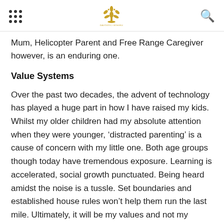[navigation dots] [Davodoci Bohiru logo] [search icon]
Mum, Helicopter Parent and Free Range Caregiver however, is an enduring one.
Value Systems
Over the past two decades, the advent of technology has played a huge part in how I have raised my kids. Whilst my older children had my absolute attention when they were younger, ‘distracted parenting’ is a cause of concern with my little one. Both age groups though today have tremendous exposure. Learning is accelerated, social growth punctuated. Being heard amidst the noise is a tussle. Set boundaries and established house rules won’t help them run the last mile. Ultimately, it will be my values and not my instructions, that will influence and condition them to